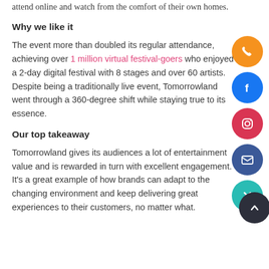attend online and watch from the comfort of their own homes.
Why we like it
The event more than doubled its regular attendance, achieving over 1 million virtual festival-goers who enjoyed a 2-day digital festival with 8 stages and over 60 artists. Despite being a traditionally live event, Tomorrowland went through a 360-degree shift while staying true to its essence.
Our top takeaway
Tomorrowland gives its audiences a lot of entertainment value and is rewarded in turn with excellent engagement. It's a great example of how brands can adapt to the changing environment and keep delivering great experiences to their customers, no matter what.